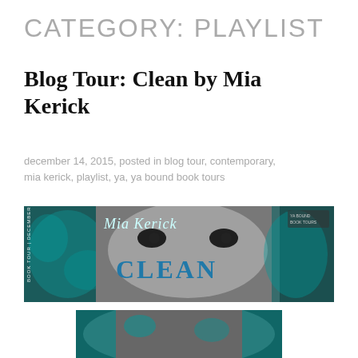CATEGORY: PLAYLIST
Blog Tour: Clean by Mia Kerick
december 14, 2015, posted in blog tour, contemporary, mia kerick, playlist, ya, ya bound book tours
[Figure (photo): Book tour banner for 'Clean' by Mia Kerick. Shows a close-up black and white photo of a young man's face with teal/blue water paint effects. Text reads 'Mia Kerick' at top and 'CLEAN' across the face. Side text reads 'BOOK TOUR | DECEMBER 14-18'. Top right corner has a logo for YA Bound Book Tours.]
[Figure (photo): Partial second image showing a close-up of a face with teal water effects, bottom portion of the same book cover image.]